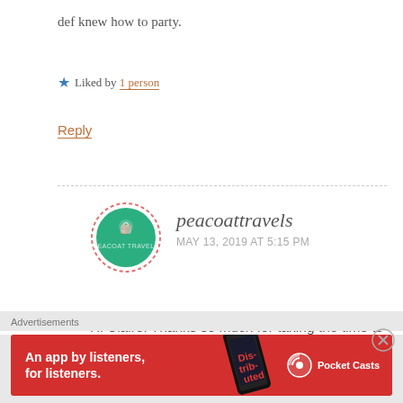def knew how to party.
★ Liked by 1 person
Reply
[Figure (illustration): Avatar circle for peacoattravels blog commenter — green circular logo with dashed red border]
peacoattravels
MAY 13, 2019 AT 5:15 PM
Hi Claire! Thanks so much for taking the time to read it and happy you enjoyed it. I sometimes find lists rather dry and trying to find a way of writing that presented as a narrative and informative is
Advertisements
[Figure (infographic): Red Pocket Casts advertisement banner: 'An app by listeners, for listeners.' with phone graphic and Pocket Casts logo]